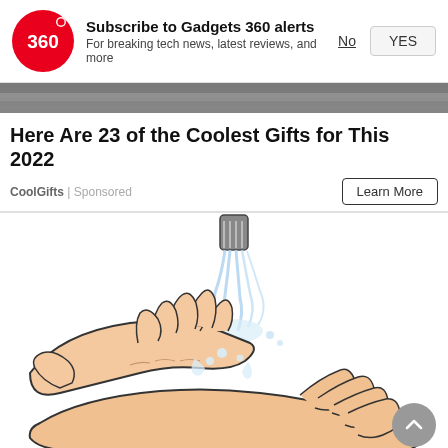[Figure (logo): Gadgets 360 red circle logo with '360' text in white]
Subscribe to Gadgets 360 alerts
For breaking tech news, latest reviews, and more
No
YES
[Figure (photo): Partial background image strip, dark textured surface]
Here Are 23 of the Coolest Gifts for This 2022
CoolGifts | Sponsored
Learn More
[Figure (illustration): Illustration of hands being washed under a running faucet, cartoon style with water splashing]